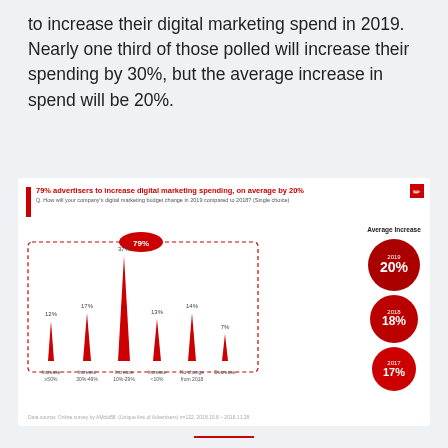to increase their digital marketing spend in 2019. Nearly one third of those polled will increase their spending by 30%, but the average increase in spend will be 20%.
[Figure (bar-chart): 79% advertisers to increase digital marketing spending, on average by 20%]
Data source: Online survey by AMcbi88. (Unique line of Advertisers) n=122, 2018.10.8 – 2018.11.28